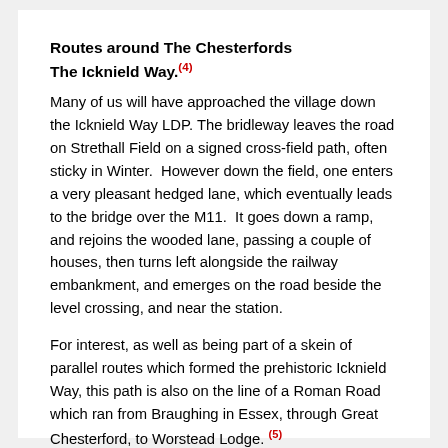Routes around The Chesterfords
The Icknield Way.(4)
Many of us will have approached the village down the Icknield Way LDP. The bridleway leaves the road on Strethall Field on a signed cross-field path, often sticky in Winter.  However down the field, one enters a very pleasant hedged lane, which eventually leads to the bridge over the M11.  It goes down a ramp, and rejoins the wooded lane, passing a couple of houses, then turns left alongside the railway embankment, and emerges on the road beside the level crossing, and near the station.
For interest, as well as being part of a skein of parallel routes which formed the prehistoric Icknield Way, this path is also on the line of a Roman Road which ran from Braughing in Essex, through Great Chesterford, to Worstead Lodge. (5)
The Icknield Way Path leaves the village along Manor